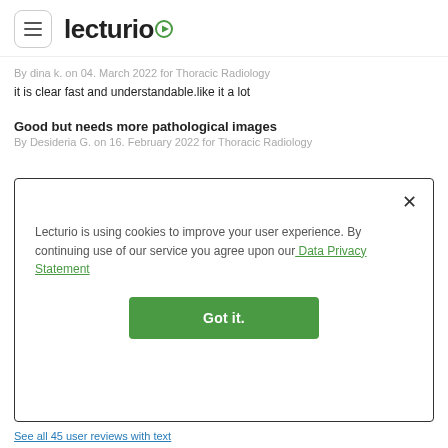[Figure (logo): Lecturio logo with hamburger menu icon on the left]
By dina k. on 04. March 2022 for Thoracic Radiology
it is clear fast and understandable.like it a lot
Good but needs more pathological images
By Desideria G. on 16. February 2022 for Thoracic Radiology
Lecturio is using cookies to improve your user experience. By continuing use of our service you agree upon our Data Privacy Statement
Got it.
See all 45 user reviews with text